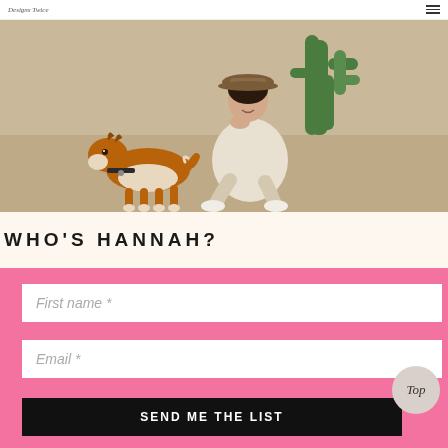Designs Twice  ≡
[Figure (photo): A young woman wearing a hat and white outfit sits on sandy ground next to a brown and white basenji dog, with green cactus in the background.]
WHO'S HANNAH?
First name *
Email *
SEND ME THE LIST